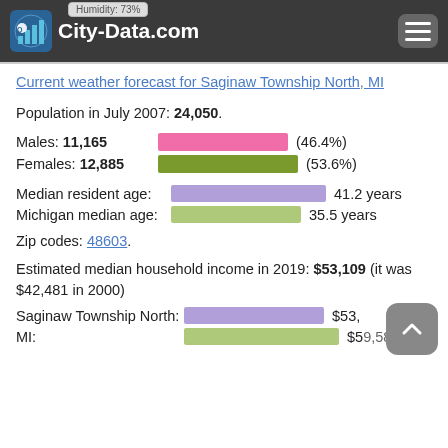City-Data.com
Current weather forecast for Saginaw Township North, MI
Population in July 2007: 24,050.
Males: 11,165 (46.4%)
Females: 12,885 (53.6%)
[Figure (bar-chart): Gender distribution]
Median resident age: 41.2 years
Michigan median age: 35.5 years
[Figure (bar-chart): Age comparison]
Zip codes: 48603.
Estimated median household income in 2019: $53,109 (it was $42,481 in 2000)
Saginaw Township North: $53,109
MI: $59,584